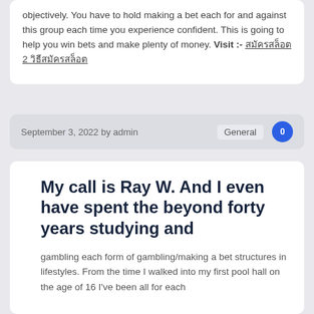objectively. You have to hold making a bet each for and against this group each time you experience confident. This is going to help you win bets and make plenty of money. Visit :- สมัครสล็อต 2 วิธีสมัครสล็อต
September 3, 2022 by admin  General  0
My call is Ray W. And I even have spent the beyond forty years studying and
gambling each form of gambling/making a bet structures in lifestyles. From the time I walked into my first pool hall on the age of 16 I've been all for each